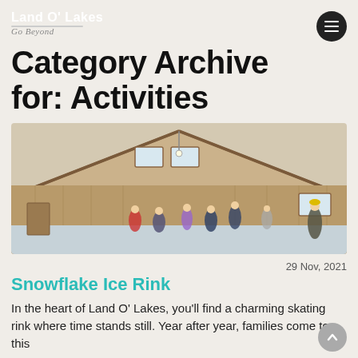Land O' Lakes
Category Archive for: Activities
[Figure (photo): Indoor ice skating rink with wooden beam ceiling. Multiple skaters visible on the ice surface inside a large barn-style building with wood-paneled walls and windows.]
29 Nov, 2021
Snowflake Ice Rink
In the heart of Land O' Lakes, you'll find a charming skating rink where time stands still. Year after year, families come to this